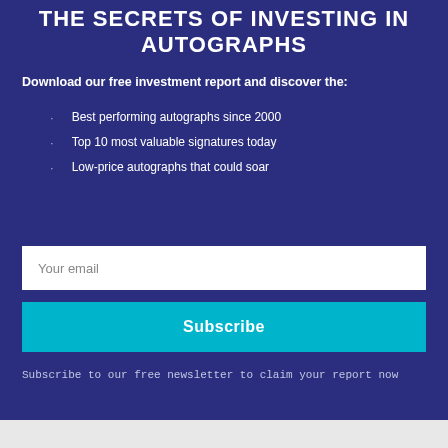THE SECRETS OF INVESTING IN AUTOGRAPHS
Download our free investment report and discover the:
Best performing autographs since 2000
Top 10 most valuable signatures today
Low-price autographs that could soar
Your email
Subscribe
Subscribe to our free newsletter to claim your report now